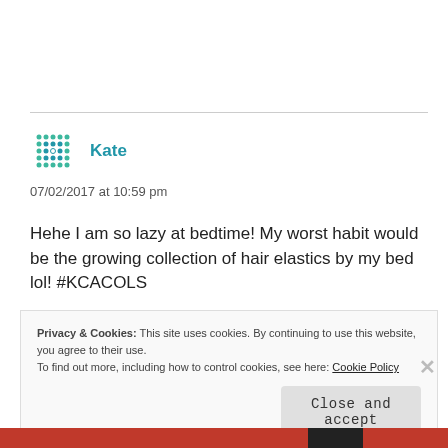[Figure (illustration): Decorative avatar icon made of teal/green dots in a grid pattern, next to the author name 'Kate' in teal bold text]
07/02/2017 at 10:59 pm
Hehe I am so lazy at bedtime! My worst habit would be the growing collection of hair elastics by my bed lol! #KCACOLS
Privacy & Cookies: This site uses cookies. By continuing to use this website, you agree to their use.
To find out more, including how to control cookies, see here: Cookie Policy
Close and accept